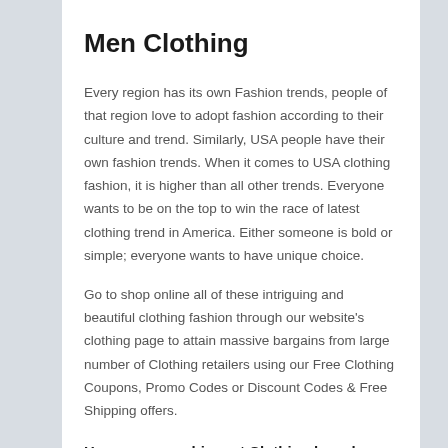Men Clothing
Every region has its own Fashion trends, people of that region love to adopt fashion according to their culture and trend. Similarly, USA people have their own fashion trends. When it comes to USA clothing fashion, it is higher than all other trends. Everyone wants to be on the top to win the race of latest clothing trend in America. Either someone is bold or simple; everyone wants to have unique choice.
Go to shop online all of these intriguing and beautiful clothing fashion through our website's clothing page to attain massive bargains from large number of Clothing retailers using our Free Clothing Coupons, Promo Codes or Discount Codes & Free Shipping offers.
Here are some biggest Clothing brands: